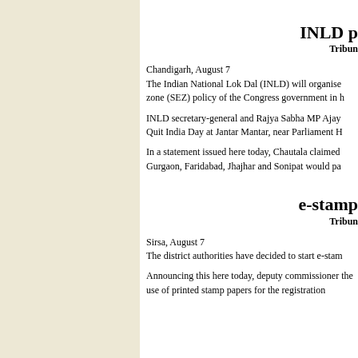INLD p
Tribune
Chandigarh, August 7
The Indian National Lok Dal (INLD) will organise zone (SEZ) policy of the Congress government in h
INLD secretary-general and Rajya Sabha MP Ajay Quit India Day at Jantar Mantar, near Parliament H
In a statement issued here today, Chautala claimed Gurgaon, Faridabad, Jhajhar and Sonipat would pa
e-stamp
Tribune
Sirsa, August 7
The district authorities have decided to start e-stam
Announcing this here today, deputy commissioner the use of printed stamp papers for the registration